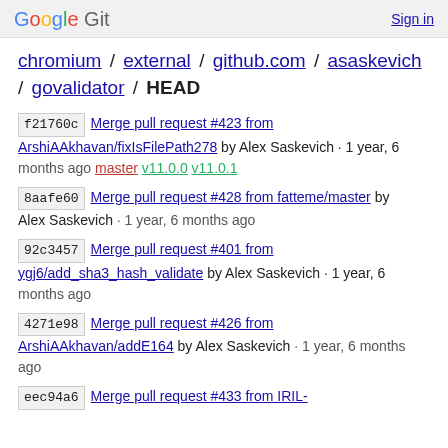Google Git   Sign in
chromium / external / github.com / asaskevich / govalidator / HEAD
f21760c  Merge pull request #423 from ArshiAAkhavan/fixIsFilePath278 by Alex Saskevich · 1 year, 6 months ago  master  v11.0.0  v11.0.1
8aafe60  Merge pull request #428 from fatteme/master by Alex Saskevich · 1 year, 6 months ago
92c3457  Merge pull request #401 from ygj6/add_sha3_hash_validate by Alex Saskevich · 1 year, 6 months ago
4271e98  Merge pull request #426 from ArshiAAkhavan/addE164 by Alex Saskevich · 1 year, 6 months ago
eec94a6  Merge pull request #433 from IRIL-